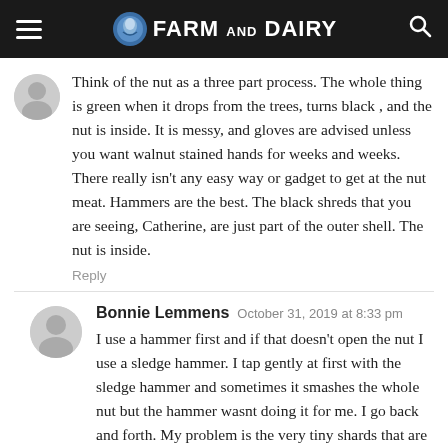Farm and Dairy
Think of the nut as a three part process. The whole thing is green when it drops from the trees, turns black , and the nut is inside. It is messy, and gloves are advised unless you want walnut stained hands for weeks and weeks. There really isn't any easy way or gadget to get at the nut meat. Hammers are the best. The black shreds that you are seeing, Catherine, are just part of the outer shell. The nut is inside.
Reply
Bonnie Lemmens October 31, 2019 at 8:33 pm
I use a hammer first and if that doesn't open the nut I use a sledge hammer. I tap gently at first with the sledge hammer and sometimes it smashes the whole nut but the hammer wasnt doing it for me. I go back and forth. My problem is the very tiny shards that are created. I've